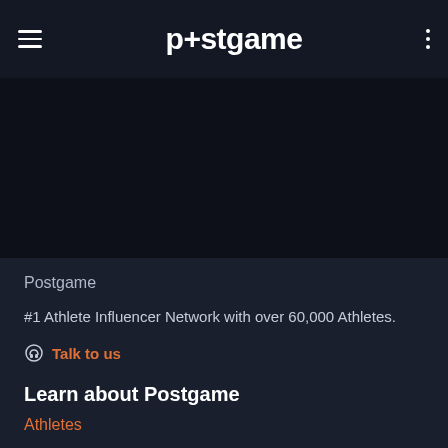postgame
[Figure (photo): Dark hero image area, predominantly black/very dark navy]
Postgame
#1 Athlete Influencer Network with over 60,000 Athletes.
Talk to us
Learn about Postgame
Athletes
Brands / Advertisers
Our Portfolio of Influencer Campaigns